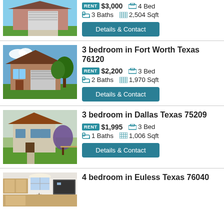[Figure (photo): House exterior with garage, partial view at top]
RENT $3,000  4 Bed  3 Baths  2,504 Sqft
Details & Contact
[Figure (photo): House exterior with garage in Fort Worth]
3 bedroom in Fort Worth Texas 76120
RENT $2,200  3 Bed  2 Baths  1,970 Sqft
Details & Contact
[Figure (photo): House exterior in Dallas]
3 bedroom in Dallas Texas 75209
RENT $1,995  3 Bed  1 Baths  1,006 Sqft
Details & Contact
[Figure (photo): House interior kitchen in Euless]
4 bedroom in Euless Texas 76040